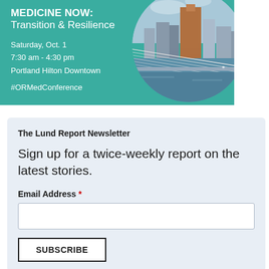[Figure (infographic): Conference banner with teal background showing 'MEDICINE NOW: Transition & Resilience' event details and a circular photo of Portland cityscape/bridge]
The Lund Report Newsletter
Sign up for a twice-weekly report on the latest stories.
Email Address *